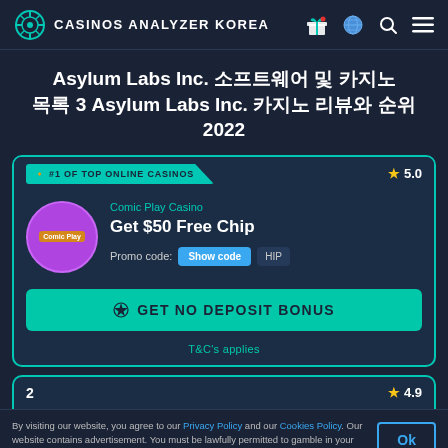CASINOS ANALYZER KOREA
Asylum Labs Inc. 소프트웨어 및 카지노 목록 3 Asylum Labs Inc. 카지노 리뷰와 순위 2022
[Figure (infographic): Casino card for Comic Play Casino - #1 of top online casinos, rating 5.0, Get $50 Free Chip, Promo code show code, GET NO DEPOSIT BONUS button, T&C's applies]
2  ★ 4.9
By visiting our website, you agree to our Privacy Policy and our Cookies Policy. Our website contains advertisement. You must be lawfully permitted to gamble in your country of access.